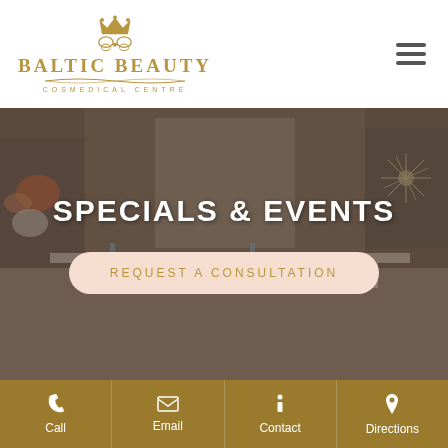[Figure (logo): Baltic Beauty Cosmedical Centre logo with decorative golden crown/butterfly icon above stylized text]
SPECIALS & EVENTS
REQUEST A CONSULTATION
[Figure (photo): Interior of Baltic Beauty Cosmedical Centre showing treatment/nail stations with white chairs and butterfly wall art]
Call | Email | Contact | Directions